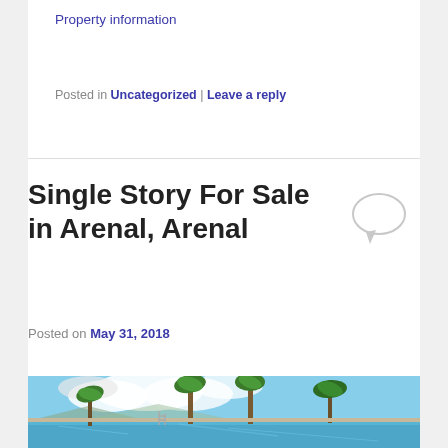Property information
Posted in Uncategorized | Leave a reply
Single Story For Sale in Arenal, Arenal
Posted on May 31, 2018
[Figure (photo): Outdoor infinity pool with palm trees and cloudy sky in the background, likely in a tropical location in Arenal, Costa Rica.]